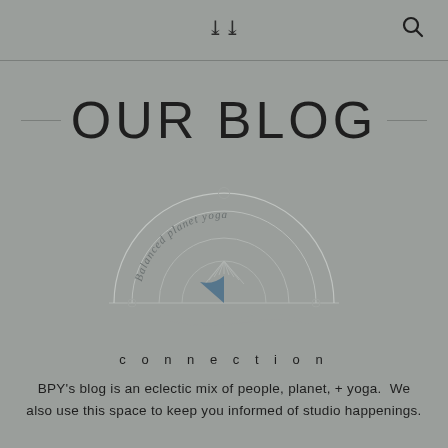OUR BLOG
[Figure (illustration): A semicircular compass or gauge illustration with concentric arcs, small circles at the ends of a horizontal baseline, a blue filled wedge near the center bottom, and cursive handwritten text 'Balanced planet yoga' along the top arc. Style is light, sketch-like on a grey background.]
connection
BPY's blog is an eclectic mix of people, planet, + yoga.  We also use this space to keep you informed of studio happenings.